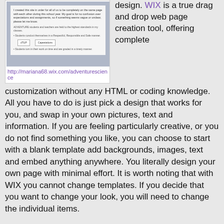[Figure (screenshot): Screenshot of a WIX website page for adventure science class, showing course expectations and assignments text, with two buttons labeled 'dTUP' and 'Capestations']
http://mariana68.wix.com/adventurescience
design. WIX is a true drag and drop web page creation tool, offering complete customization without any HTML or coding knowledge.  All you have to do is just pick a design that works for you, and swap in your own pictures, text and information. If you are feeling particularly creative, or you do not find something you like, you can choose to start with a blank template add backgrounds, images, text and embed anything anywhere. You literally design your own page with minimal effort. It is worth noting that with WIX you cannot change templates. If you decide that you want to change your look, you will need to change the individual items.
WIX also has an incredibly comprehensive help center. There are help buttons everywhere, so that if there is ever any doubt on what or how to do something, help is just a click away. You will not need to go a-searching for anything. They have even gone the extra mile and created WixEd a